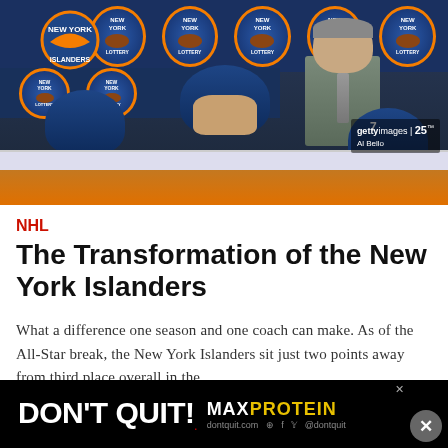[Figure (photo): New York Islanders hockey players on the bench, wearing blue and orange jerseys with number 9 visible. A coach in a suit stands behind them. New York Lottery signs visible in the background. Getty Images watermark and photographer credit 'Al Bello' visible.]
NHL
The Transformation of the New York Islanders
What a difference one season and one coach can make. As of the All-Star break, the New York Islanders sit just two points away from third place overall in the
[Figure (advertisement): Black advertisement banner reading 'DON'T QUIT!' with MAX PROTEIN logo and website dontquit.com. Close button (X) on right side.]